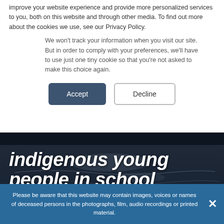improve your website experience and provide more personalized services to you, both on this website and through other media. To find out more about the cookies we use, see our Privacy Policy.
We won't track your information when you visit our site. But in order to comply with your preferences, we'll have to use just one tiny cookie so that you're not asked to make this choice again.
Accept | Decline
[Figure (photo): Dark water with light reflections background image for hero section]
indigenous young people in school
Home / Research / Previous Research Projects / Cultural and social determinants / Social determinants of health / Completed Projects
Please be aware that this website may contain images, voices or names of deceased persons in the photographs, film, audio recordings or printed material.